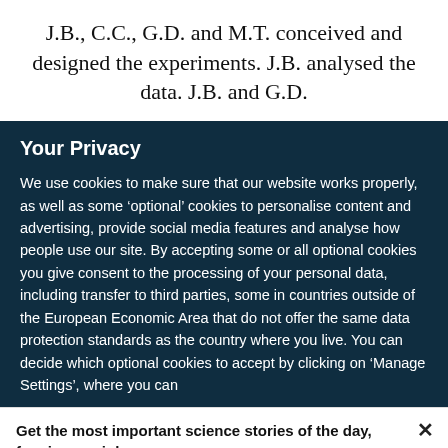J.B., C.C., G.D. and M.T. conceived and designed the experiments. J.B. analysed the data. J.B. and G.D.
Your Privacy
We use cookies to make sure that our website works properly, as well as some ‘optional’ cookies to personalise content and advertising, provide social media features and analyse how people use our site. By accepting some or all optional cookies you give consent to the processing of your personal data, including transfer to third parties, some in countries outside of the European Economic Area that do not offer the same data protection standards as the country where you live. You can decide which optional cookies to accept by clicking on ‘Manage Settings’, where you can
Get the most important science stories of the day, free in your inbox.
Sign up for Nature Briefing